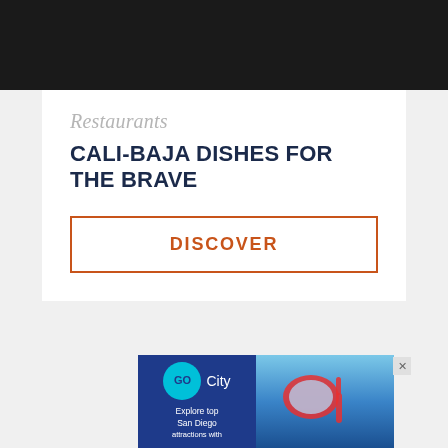[Figure (photo): Dark/black header image at top of page]
Restaurants
CALI-BAJA DISHES FOR THE BRAVE
DISCOVER
[Figure (other): Go City advertisement banner showing logo on blue background and snorkeling image. Text: Explore top San Diego attractions with]